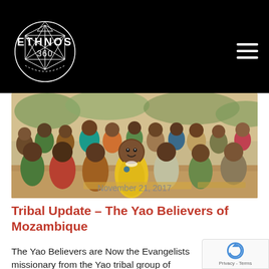ETHNOS 360
[Figure (photo): Group of African children sitting together outdoors, some smiling at the camera. A boy in a yellow shirt sits prominently in the center foreground.]
Tribal Update – The Yao Believers of Mozambique
November 21, 2017
The Yao Believers are Now the Evangelists missionary from the Yao tribal group of